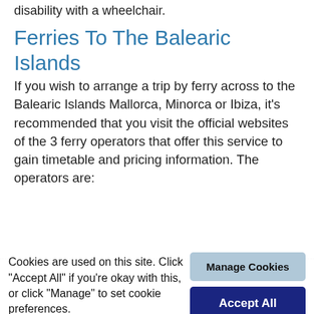disability with a wheelchair.
Ferries To The Balearic Islands
If you wish to arrange a trip by ferry across to the Balearic Islands Mallorca, Minorca or Ibiza, it's recommended that you visit the official websites of the 3 ferry operators that offer this service to gain timetable and pricing information. The operators are:
[Figure (screenshot): Navigation bar with buttons: HOME, COVID-19, FIT-TO-CRUISE, SLEEP]
Cookies are used on this site. Click "Accept All" if you're okay with this, or click "Manage" to set cookie preferences.